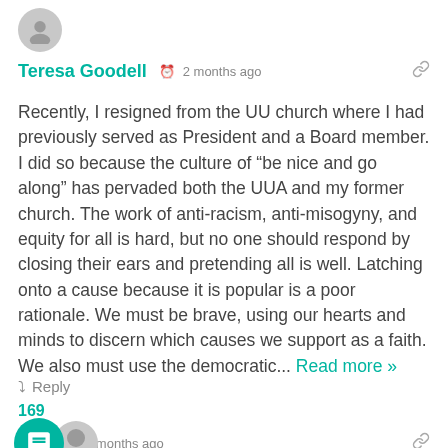[Figure (illustration): User avatar circle icon for Teresa Goodell]
Teresa Goodell  2 months ago
Recently, I resigned from the UU church where I had previously served as President and a Board member. I did so because the culture of “be nice and go along” has pervaded both the UUA and my former church. The work of anti-racism, anti-misogyny, and equity for all is hard, but no one should respond by closing their ears and pretending all is well. Latching onto a cause because it is popular is a poor rationale. We must be brave, using our hearts and minds to discern which causes we support as a faith. We also must use the democratic... Read more »
Reply
169
[Figure (illustration): Chat bubble button icon and user avatar for Jim]
Jim  2 months ago